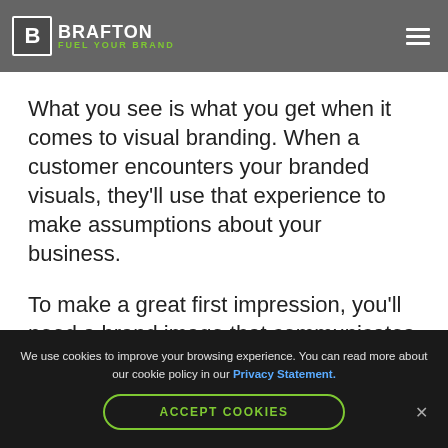[Figure (logo): Brafton logo with B icon and tagline FUEL YOUR BRAND on a grey navigation bar with hamburger menu icon]
What you see is what you get when it comes to visual branding. When a customer encounters your branded visuals, they'll use that experience to make assumptions about your business.
To make a great first impression, you'll need a brand image that communicates what you want your audience to know about your business, at a glance. Here's
We use cookies to improve your browsing experience. You can read more about our cookie policy in our Privacy Statement. ACCEPT COOKIES